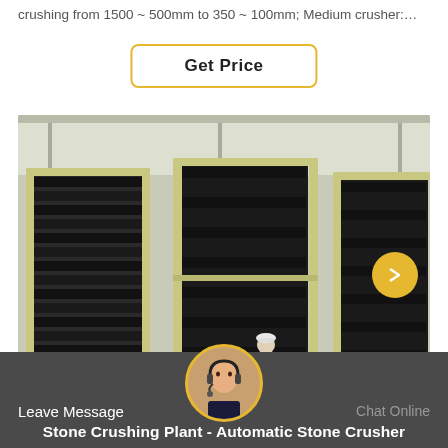crushing from 1500 ~ 500mm to 350 ~ 100mm; Medium crusher:…
Get Price
[Figure (photo): Industrial stone crusher plant with large black metal jaw plates stacked in frames inside a warehouse facility. A person in a hard hat stands in the foreground for scale.]
Leave Message
Chat Online
Stone Crushing Plant - Automatic Stone Crusher